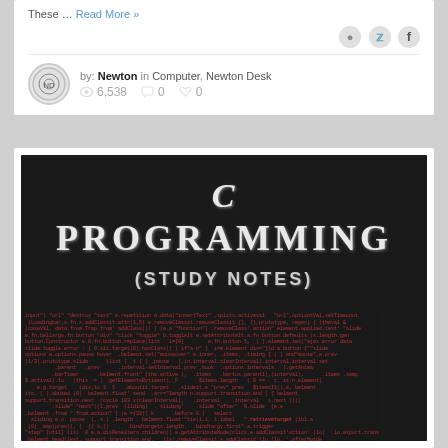These … Read More »
by: Newton in Computer, Newton Desk
6,538  0  0
[Figure (illustration): Book cover for 'C Programming (Study Notes)' with dark background, large stylized white text for the title, and background of red/green code text at the bottom.]